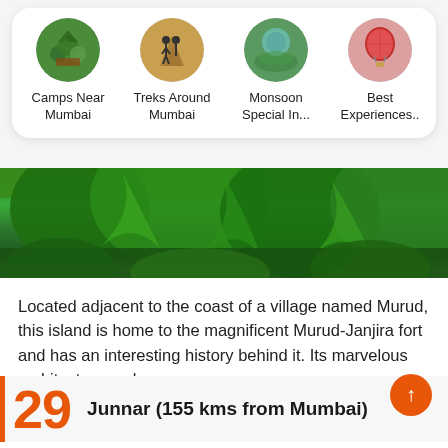[Figure (screenshot): Four circular category icons in a white card: Camps Near Mumbai, Treks Around Mumbai, Monsoon Special In..., Best Experiences..]
Camps Near Mumbai
Treks Around Mumbai
Monsoon Special In...
Best Experiences..
[Figure (photo): Lush green tropical jungle/forest banner photo with palm and leafy trees]
Located adjacent to the coast of a village named Murud, this island is home to the magnificent Murud-Janjira fort and has an interesting history behind it. Its marvelous architecture and imposing structure makes it one of the prime two day trips near
Read More
29 Junnar (155 kms from Mumbai)
[Figure (photo): Rocky cliff/waterfall landscape photo at bottom of page]